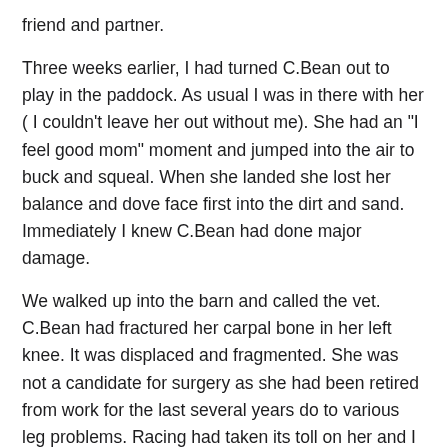friend and partner.
Three weeks earlier, I had turned C.Bean out to play in the paddock. As usual I was in there with her ( I couldn't leave her out without me). She had an "I feel good mom" moment and jumped into the air to buck and squeal. When she landed she lost her balance and dove face first into the dirt and sand. Immediately I knew C.Bean had done major damage.
We walked up into the barn and called the vet. C.Bean had fractured her carpal bone in her left knee. It was displaced and fragmented. She was not a candidate for surgery as she had been retired from work for the last several years do to various leg problems. Racing had taken its toll on her and I had made the decision to let her live out her days as my trail partner and pasture pal. My vet and long time friend said it wasn't her favorite bone to break but she had seen horses heal from it and it was only fair to give C.Bean a